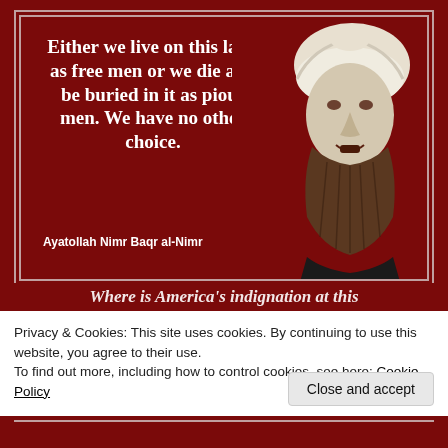[Figure (illustration): Dark red banner with white bold quote text on the left and a black-and-white portrait of a bearded man wearing a white turban on the right. Attribution reads 'Ayatollah Nimr Baqr al-Nimr' below the quote.]
Where is America's indignation at this
Privacy & Cookies: This site uses cookies. By continuing to use this website, you agree to their use.
To find out more, including how to control cookies, see here: Cookie Policy
Close and accept